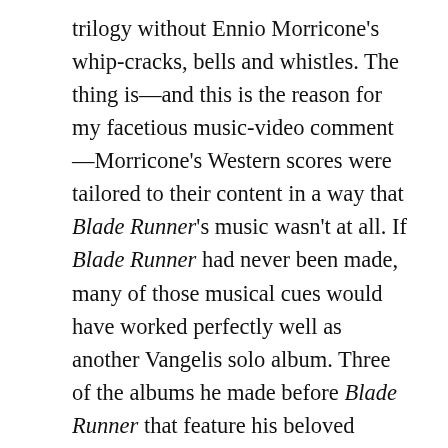trilogy without Ennio Morricone's whip-cracks, bells and whistles. The thing is—and this is the reason for my facetious music-video comment—Morricone's Western scores were tailored to their content in a way that Blade Runner's music wasn't at all. If Blade Runner had never been made, many of those musical cues would have worked perfectly well as another Vangelis solo album. Three of the albums he made before Blade Runner that feature his beloved Yamaha CS-80 keyboard—Spiral, Opera Sauvage and China—contain elements that coalesce in the film score; there you'll find the same synthesizer timbres, filter sweeps, percussive crashes, Fender Rhodes solos and musical pastiche (Chinese rather